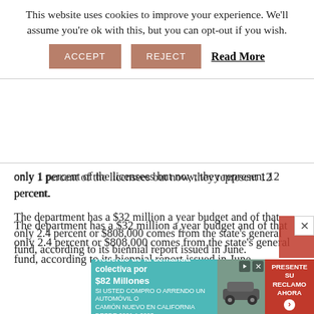This website uses cookies to improve your experience. We'll assume you're ok with this, but you can opt-out if you wish.
only 1 percent of the licensees but now, they represent 12 percent.
The department has a $32 million a year budget and of that only 2.4 percent or $808,000 comes from the state's general fund, according to its biennial report issued in June.
Most of the money has historically come from the sale of hunting and fishing licenses and federal funds and grants.
To re visit
[Figure (other): Advertisement banner: Acuerdo de la demanda colectiva por $82 Millones - SI USTED COMPRO O ARRENDO UN AUTOMOVIL O CAMION NUEVO EN CALIFORNIA DESDE 2001 A 2003. Shows a car image and PRESENTE SU RECLAMO AHORA button.]